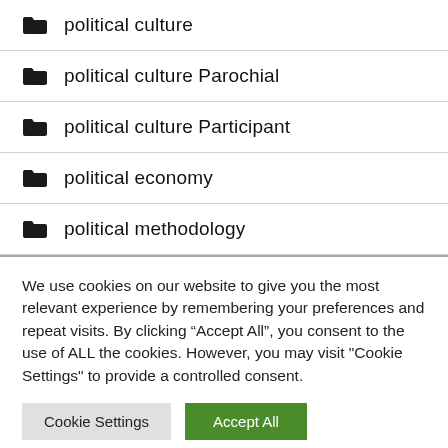political culture
political culture Parochial
political culture Participant
political economy
political methodology
We use cookies on our website to give you the most relevant experience by remembering your preferences and repeat visits. By clicking “Accept All”, you consent to the use of ALL the cookies. However, you may visit "Cookie Settings" to provide a controlled consent.
Cookie Settings | Accept All